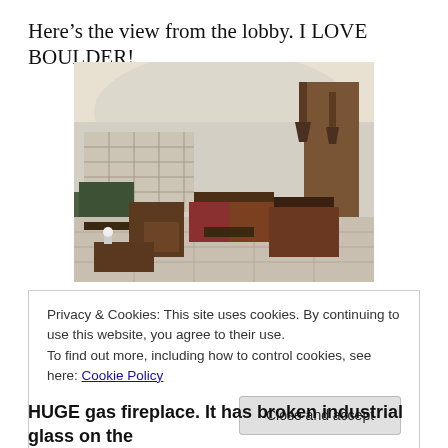Here’s the view from the lobby. I LOVE BOULDER!
[Figure (photo): Interior photo of a hotel lobby with dark wood chairs, sofas, lamps, a large cylindrical column, and tiled flooring]
Privacy & Cookies: This site uses cookies. By continuing to use this website, you agree to their use.
To find out more, including how to control cookies, see here: Cookie Policy
Close and accept
HUGE gas fireplace. It has broken industrial glass on the